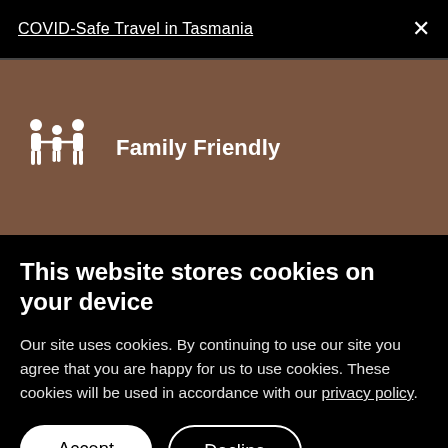COVID-Safe Travel in Tasmania
[Figure (illustration): Family Friendly icon with two adults and a child in white silhouette on brown background, labeled 'Family Friendly']
This website stores cookies on your device
Our site uses cookies. By continuing to use our site you agree that you are happy for us to use cookies. These cookies will be used in accordance with our privacy policy.
Accept | Decline